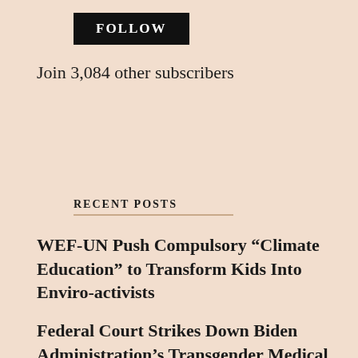[Figure (other): Black FOLLOW button]
Join 3,084 other subscribers
RECENT POSTS
WEF-UN Push Compulsory “Climate Education” to Transform Kids Into Enviro-activists
Federal Court Strikes Down Biden Administration’s Transgender Medical Mandate
Silence in the Face of Evil is Evil Itself: